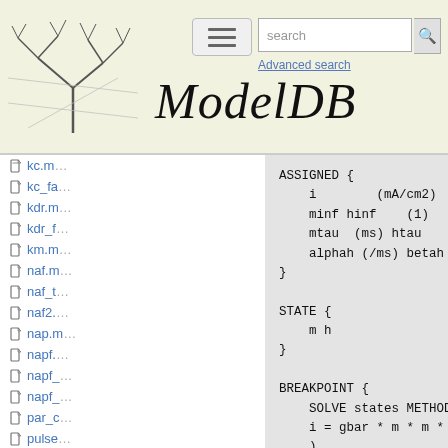ModelDB — Advanced search
kc.m…
kc_fa…
kdr.m…
kdr_f…
km.m…
naf.m…
naf_t…
naf2.…
nap.m…
napf.…
napf_…
napf_…
par_c…
pulse…
ramp…
ASSIGNED {
    i        (mA/cm2)
    minf hinf    (1)
    mtau  (ms) htau       (ms)
    alphah (/ms) betah   (/ms)
}

STATE {
    m h
}

BREAKPOINT {
    SOLVE states METHOD cnexp
    i = gbar * m * m * h * ( v - 125
    )

    alphah = hinf/htau
    betah = 1/htau - alphah
}